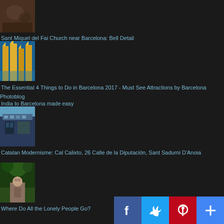[Figure (photo): Thumbnail of Sant Miquel del Fai Church bell detail - brownish cave surface]
Sant Miquel del Fai Church near Barcelona: Bell Detail
[Figure (photo): Thumbnail of Sagrada Familia towers against blue sky]
The Essential 4 Things to Do in Barcelona 2017 - Must See Attractions by Barcelona Photoblog
India to Barcelona made easy
[Figure (photo): Thumbnail of ornate Catalan Modernisme building facade with blue tilework]
Catalan Modernisme: Cal Calixto, 26 Calle de la Diputación, Sant Sadurni D'Anoia
[Figure (photo): Thumbnail of elderly person seated outdoors among palm trees]
Where Do All the Lonely People Go?